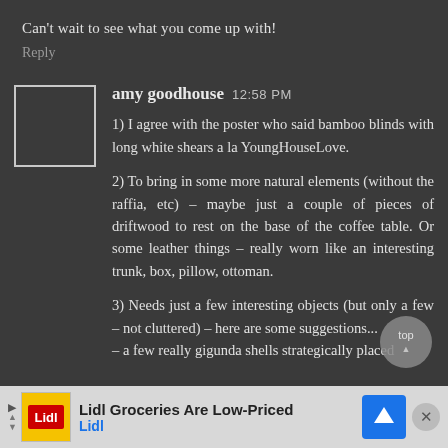Can't wait to see what you come up with!
Reply
[Figure (illustration): User avatar placeholder box, white border, dark background]
amy goodhouse 12:58 PM
1) I agree with the poster who said bamboo blinds with long white shears a la YoungHouseLove.

2) To bring in some more natural elements (without the raffia, etc) – maybe just a couple of pieces of driftwood to rest on the base of the coffee table. Or some leather things – really worn like an interesting trunk, box, pillow, ottoman.

3) Needs just a few interesting objects (but only a few – not cluttered) – here are some suggestions... – a few really gigunda shells strategically placed
Lidl Groceries Are Low-Priced  Lidl